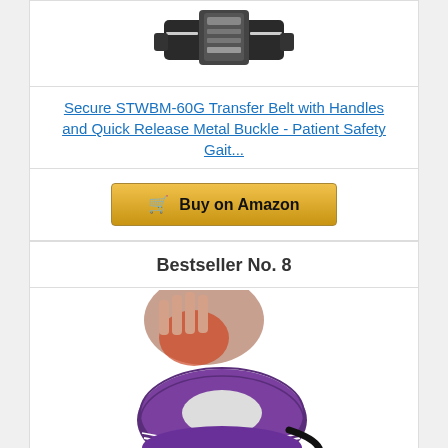[Figure (photo): Product photo of Secure STWBM-60G Transfer Belt with handles and quick release metal buckle, shown partially at top of page]
Secure STWBM-60G Transfer Belt with Handles and Quick Release Metal Buckle - Patient Safety Gait...
Buy on Amazon
Bestseller No. 8
[Figure (photo): Purple inflatable cervical neck traction device with hand pump bulb, shown with person's red/inflamed neck in background]